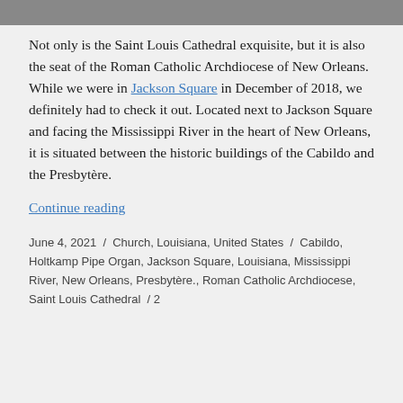[Figure (photo): Top strip of a photo, partially cropped, showing the Saint Louis Cathedral area.]
Not only is the Saint Louis Cathedral exquisite, but it is also the seat of the Roman Catholic Archdiocese of New Orleans. While we were in Jackson Square in December of 2018, we definitely had to check it out. Located next to Jackson Square and facing the Mississippi River in the heart of New Orleans, it is situated between the historic buildings of the Cabildo and the Presbytère.
Continue reading
June 4, 2021 / Church, Louisiana, United States / Cabildo, Holtkamp Pipe Organ, Jackson Square, Louisiana, Mississippi River, New Orleans, Presbytère., Roman Catholic Archdiocese, Saint Louis Cathedral / 2